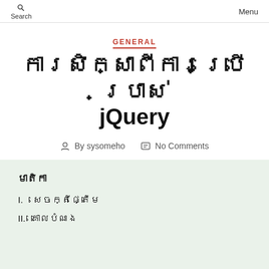Search   Menu
GENERAL
ការសិក្សាពីការប្រើប្រាស់ jQuery
By sysomeho   No Comments
មាតិកា
I.   សេចក្តីផ្តើម
II.  គោលបំណង